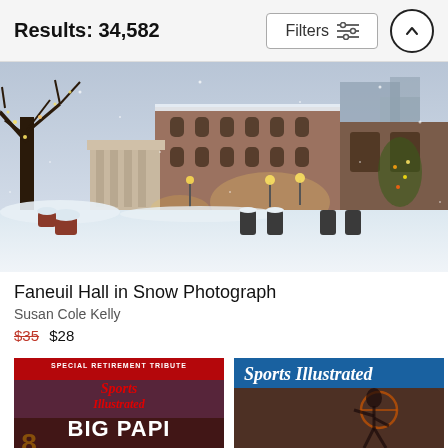Results: 34,582
[Figure (photo): Faneuil Hall marketplace in Boston covered in snow, with a bare tree adorned with lights on the left, warm lamp-lit plaza, and brick buildings in the background. Watermark reads 'fine art america'.]
Faneuil Hall in Snow Photograph
Susan Cole Kelly
$35 $28
[Figure (photo): Sports Illustrated Special Retirement Tribute magazine cover featuring Big Papi (David Ortiz)]
[Figure (photo): Sports Illustrated magazine cover featuring a basketball player dunking]